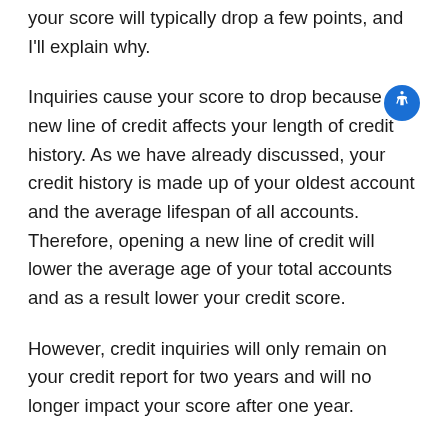your score will typically drop a few points, and I'll explain why.
Inquiries cause your score to drop because the new line of credit affects your length of credit history. As we have already discussed, your credit history is made up of your oldest account and the average lifespan of all accounts. Therefore, opening a new line of credit will lower the average age of your total accounts and as a result lower your credit score.
However, credit inquiries will only remain on your credit report for two years and will no longer impact your score after one year.